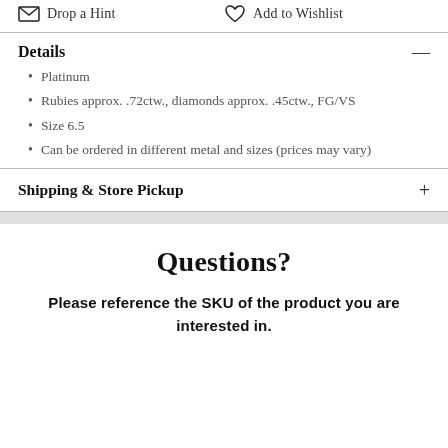Drop a Hint
Add to Wishlist
Details
Platinum
Rubies approx. .72ctw., diamonds approx. .45ctw., FG/VS
Size 6.5
Can be ordered in different metal and sizes (prices may vary)
Shipping & Store Pickup
Questions?
Please reference the SKU of the product you are interested in.